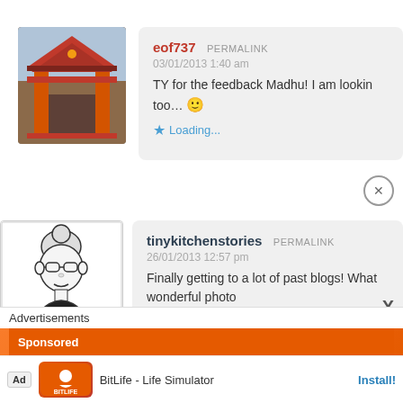[Figure (photo): Avatar image of a Japanese temple gate (red torii/gate structure)]
eof737 PERMALINK
03/01/2013 1:40 am
TY for the feedback Madhu! I am lookin
too... 🙂
★ Loading...
[Figure (illustration): Avatar illustration of a woman with glasses and short hair, black and white line art]
tinykitchenstories PERMALINK
26/01/2013 12:57 pm
Finally getting to a lot of past blogs! What wonderful photo
come up with in 2013. 🙂
★ Loading...
Advertisements
Ad  BitLife - Life Simulator  Install!